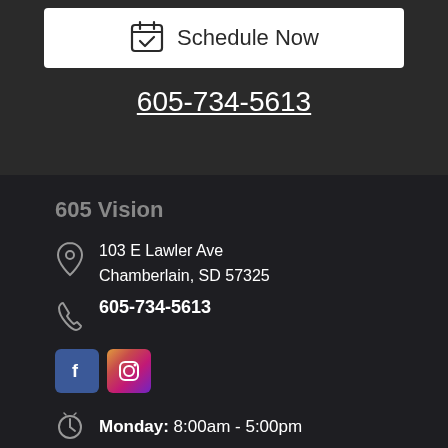[Figure (infographic): Schedule Now button with calendar icon inside a white rounded box on dark background]
605-734-5613
605 Vision
103 E Lawler Ave
Chamberlain, SD 57325
605-734-5613
[Figure (logo): Facebook and Instagram social media icon buttons]
Monday: 8:00am - 5:00pm